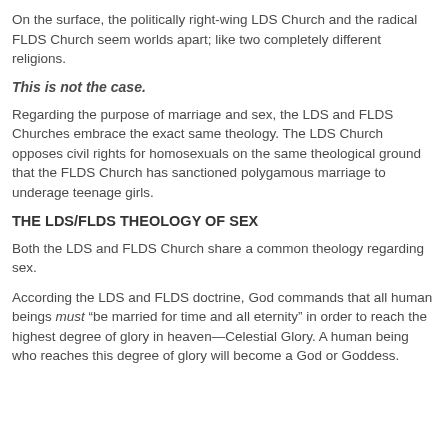On the surface, the politically right-wing LDS Church and the radical FLDS Church seem worlds apart; like two completely different religions.
This is not the case.
Regarding the purpose of marriage and sex, the LDS and FLDS Churches embrace the exact same theology. The LDS Church opposes civil rights for homosexuals on the same theological ground that the FLDS Church has sanctioned polygamous marriage to underage teenage girls.
THE LDS/FLDS THEOLOGY OF SEX
Both the LDS and FLDS Church share a common theology regarding sex.
According the LDS and FLDS doctrine, God commands that all human beings must “be married for time and all eternity” in order to reach the highest degree of glory in heaven—Celestial Glory. A human being who reaches this degree of glory will become a God or Goddess.